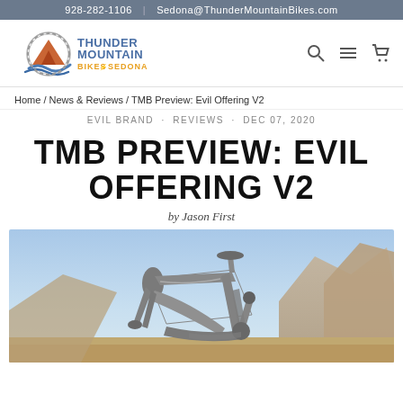928-282-1106 | Sedona@ThunderMountainBikes.com
[Figure (logo): Thunder Mountain Bikes of Sedona logo with mountain/wave graphic and orange/gold text]
Home / News & Reviews / TMB Preview: Evil Offering V2
EVIL BRAND · REVIEWS · DEC 07, 2020
TMB PREVIEW: EVIL OFFERING V2
by Jason First
[Figure (photo): Evil Offering V2 mountain bike carbon frame against desert rock landscape background]